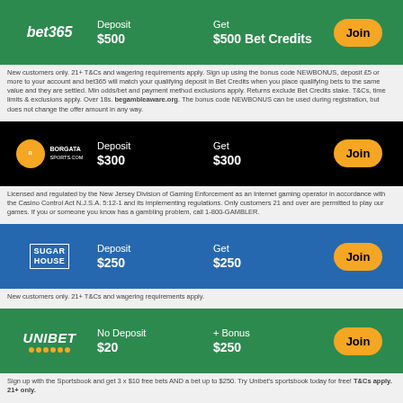[Figure (infographic): bet365 promotional banner: Deposit $500, Get $500 Bet Credits, Join button]
New customers only. 21+ T&Cs and wagering requirements apply. Sign up using the bonus code NEWBONUS, deposit £5 or more to your account and bet365 will match your qualifying deposit in Bet Credits when you place qualifying bets to the same value and they are settled. Min odds/bet and payment method exclusions apply. Returns exclude Bet Credits stake. T&Cs, time limits & exclusions apply. Over 18s. begambleaware.org. The bonus code NEWBONUS can be used during registration, but does not change the offer amount in any way.
[Figure (infographic): Borgata Sports promotional banner: Deposit $300, Get $300, Join button]
Licensed and regulated by the New Jersey Division of Gaming Enforcement as an Internet gaming operator in accordance with the Casino Control Act N.J.S.A. 5:12-1 and its implementing regulations. Only customers 21 and over are permitted to play our games. If you or someone you know has a gambling problem, call 1-800-GAMBLER.
[Figure (infographic): SugarHouse promotional banner: Deposit $250, Get $250, Join button]
New customers only. 21+ T&Cs and wagering requirements apply.
[Figure (infographic): Unibet promotional banner: No Deposit $20, + Bonus $250, Join button]
Sign up with the Sportsbook and get 3 x $10 free bets AND a bet up to $250. Try Unibet's sportsbook today for free! T&Cs apply. 21+ only.
2021 Brisbane International Prize Money Breakdown